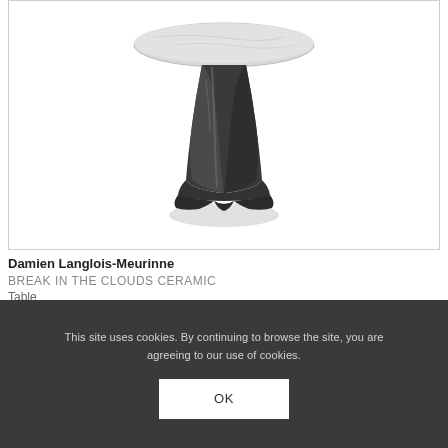[Figure (photo): Product photo of a ceramic table named 'Break in the Clouds Ceramic' by Damien Langlois-Meurinne. Shows a round marble top and a dark sculptural base resembling cloud-like forms, shot on a white background.]
Damien Langlois-Meurinne
BREAK IN THE CLOUDS CERAMIC
Table
This site uses cookies. By continuing to browse the site, you are agreeing to our use of cookies.